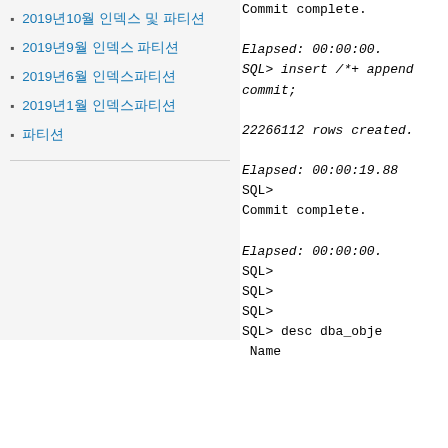2019년10월 인덱스 및 파티션
2019년9월 인덱스 파티션
2019년6월 인덱스파티션
2019년1월 인덱스파티션
파티션
Commit complete.

Elapsed: 00:00:00.
SQL> insert /*+ append
commit;

22266112 rows created.

Elapsed: 00:00:19.88
SQL>
Commit complete.

Elapsed: 00:00:00.
SQL>
SQL>
SQL>
SQL> desc dba_obje
 Name